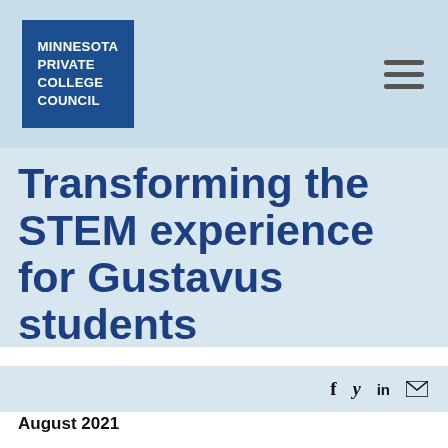MINNESOTA PRIVATE COLLEGE COUNCIL
Transforming the STEM experience for Gustavus students
August 2021
Whether students are participating in summer research opportunities or immersing themselves in a lab, Minnesota Private Colleges have found creative ways to deepen their engagement in science, technology,